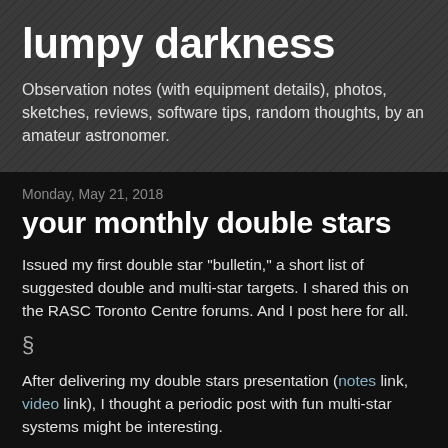lumpy darkness
Observation notes (with equipment details), photos, sketches, reviews, software tips, random thoughts, by an amateur astronomer.
Monday, May 21, 2018
your monthly double stars
Issued my first double star "bulletin," a short list of suggested double and multi-star targets. I shared this on the RASC Toronto Centre forums. And I post here for all.
§
After delivering my double stars presentation (notes link, video link), I thought a periodic post with fun multi-star systems might be interesting.